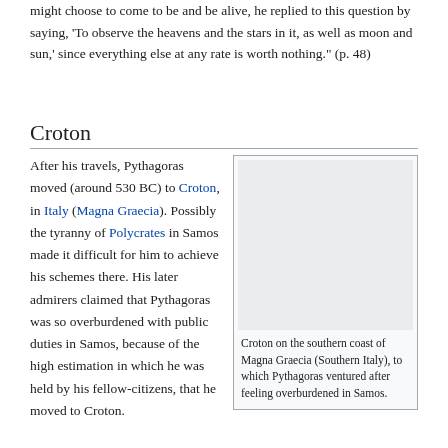might choose to come to be and be alive, he replied to this question by saying, 'To observe the heavens and the stars in it, as well as moon and sun,' since everything else at any rate is worth nothing." (p. 48)
Croton
After his travels, Pythagoras moved (around 530 BC) to Croton, in Italy (Magna Graecia). Possibly the tyranny of Polycrates in Samos made it difficult for him to achieve his schemes there. His later admirers claimed that Pythagoras was so overburdened with public duties in Samos, because of the high estimation in which he was held by his fellow-citizens, that he moved to Croton.
[Figure (photo): Image of Croton on the southern coast of Magna Graecia (Southern Italy)]
Croton on the southern coast of Magna Graecia (Southern Italy), to which Pythagoras ventured after feeling overburdened in Samos.